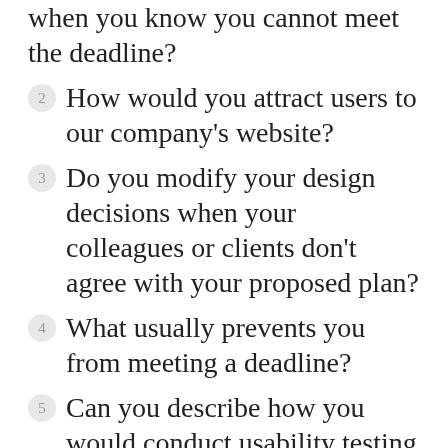when you know you cannot meet the deadline?
2  How would you attract users to our company's website?
3  Do you modify your design decisions when your colleagues or clients don't agree with your proposed plan?
4  What usually prevents you from meeting a deadline?
5  Can you describe how you would conduct usability testing to ensure your designs meet customer needs?
6  How well do you collaborate with